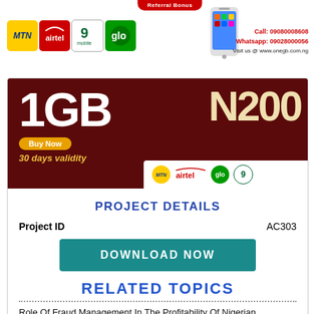[Figure (infographic): Top banner with MTN, Airtel, 9mobile, Glo logos on left; phone image and contact info on right; Referral Bonus badge at top center]
[Figure (infographic): Advertisement banner: 1GB for N200, Buy Now, 30 days validity, with MTN, Airtel, Glo, 9mobile logos]
PROJECT DETAILS
| Project ID | AC303 |
| --- | --- |
[Figure (other): DOWNLOAD NOW button in teal color]
RELATED TOPICS
Role Of Fraud Management In The Profitability Of Nigerian